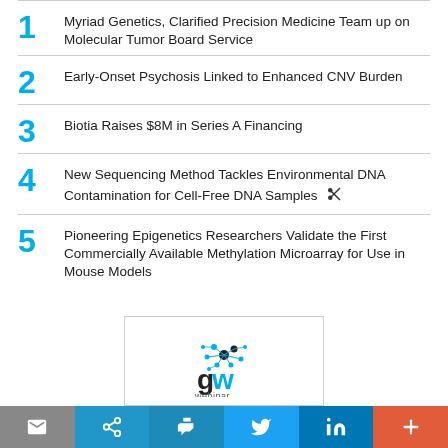1  Myriad Genetics, Clarified Precision Medicine Team up on Molecular Tumor Board Service
2  Early-Onset Psychosis Linked to Enhanced CNV Burden
3  Biotia Raises $8M in Series A Financing
4  New Sequencing Method Tackles Environmental DNA Contamination for Cell-Free DNA Samples
5  Pioneering Epigenetics Researchers Validate the First Commercially Available Methylation Microarray for Use in Mouse Models
[Figure (logo): GenomeWeb webinar logo with network/dots graphic and 'gw webinar' text]
Social share bar with email, share, print, Twitter, LinkedIn, and more buttons